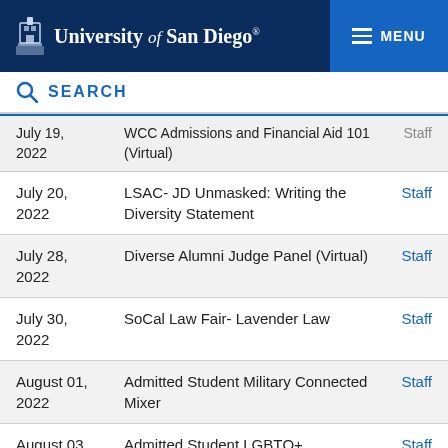University of San Diego — MENU
SEARCH
| Date | Event | Author |
| --- | --- | --- |
| July 19, 2022 | WCC Admissions and Financial Aid 101 (Virtual) | Staff |
| July 20, 2022 | LSAC- JD Unmasked: Writing the Diversity Statement | Staff |
| July 28, 2022 | Diverse Alumni Judge Panel (Virtual) | Staff |
| July 30, 2022 | SoCal Law Fair- Lavender Law | Staff |
| August 01, 2022 | Admitted Student Military Connected Mixer | Staff |
| August 03, | Admitted Student LGBTQ+ | Staff |